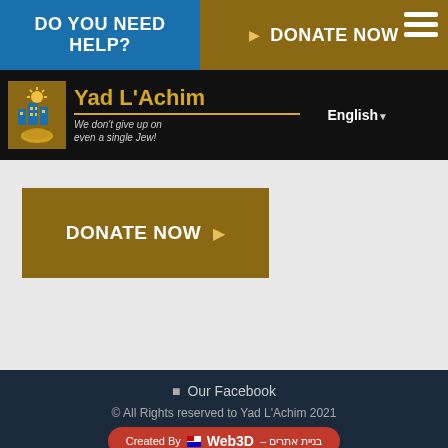DO YOU NEED HELP?
DONATE NOW
[Figure (logo): Yad L'Achim logo with golden sun/buildings icon over hands, with tagline 'We don't give up on even a single Jew!']
Yad L'Achim
We don't give up on even a single Jew!
English
DONATE NOW
Our Facebook
© All Rights reserved to Yad L'Achim 2021
Created By Web3D – בניית אתרים
[Figure (illustration): Green circle phone button icon at bottom left]